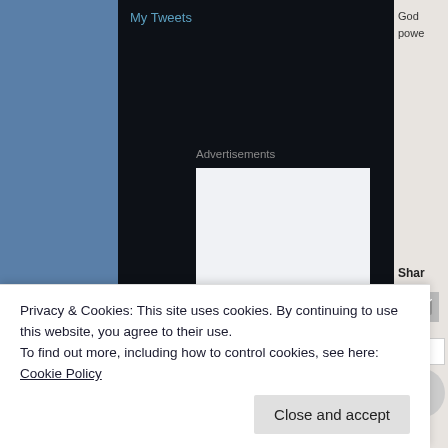My Tweets
Advertisements
[Figure (logo): WordPress logo — blue W in a circle on a rounded light-blue square background inside an advertisement box]
God
powe
Shar
Privacy & Cookies: This site uses cookies. By continuing to use this website, you agree to their use.
To find out more, including how to control cookies, see here: Cookie Policy
Close and accept